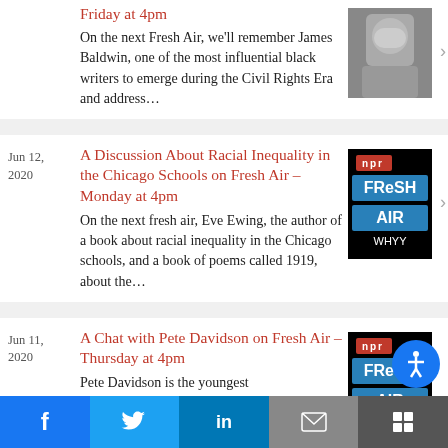Friday at 4pm
On the next Fresh Air, we'll remember James Baldwin, one of the most influential black writers to emerge during the Civil Rights Era and address...
[Figure (photo): Black and white photo of James Baldwin]
Jun 12, 2020
A Discussion About Racial Inequality in the Chicago Schools on Fresh Air – Monday at 4pm
On the next fresh air, Eve Ewing, the author of a book about racial inequality in the Chicago schools, and a book of poems called 1919, about the...
[Figure (logo): NPR Fresh Air WHYY logo on black background]
Jun 11, 2020
A Chat with Pete Davidson on Fresh Air – Thursday at 4pm
Pete Davidson is the youngest
[Figure (logo): NPR Fresh Air WHYY logo on black background]